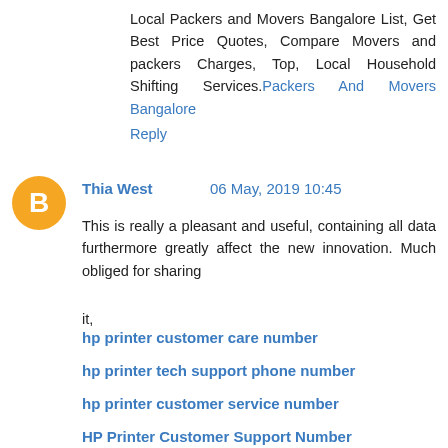Local Packers and Movers Bangalore List, Get Best Price Quotes, Compare Movers and packers Charges, Top, Local Household Shifting Services. Packers And Movers Bangalore
Reply
Thia West 06 May, 2019 10:45
This is really a pleasant and useful, containing all data furthermore greatly affect the new innovation. Much obliged for sharing
it,
hp printer customer care number
hp printer tech support phone number
hp printer customer service number
HP Printer Customer Support Number